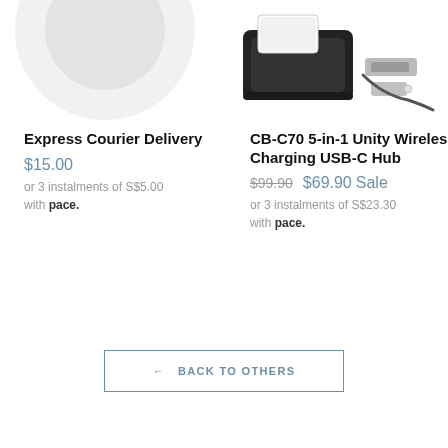[Figure (photo): Partial view of a circular product (courier delivery icon/packaging), cropped at top-left]
[Figure (photo): CB-C70 5-in-1 Unity Wireless Charging USB-C Hub product image showing a black hub with phone, USB drives and cable]
Express Courier Delivery
$15.00
or 3 instalments of S$5.00 with pace.
CB-C70 5-in-1 Unity Wireless Charging USB-C Hub
$99.90  $69.90 Sale
or 3 instalments of S$23.30 with pace.
← BACK TO OTHERS